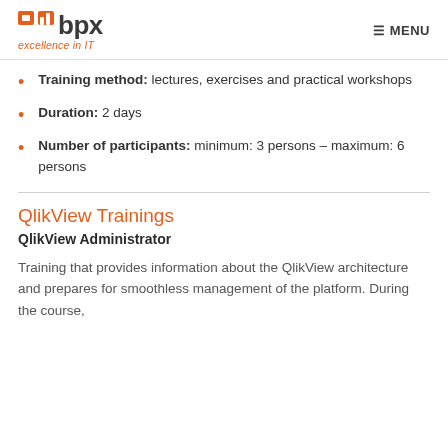bpx excellence in IT | MENU
Training method: lectures, exercises and practical workshops
Duration: 2 days
Number of participants: minimum: 3 persons – maximum: 6 persons
QlikView Trainings
QlikView Administrator
Training that provides information about the QlikView architecture and prepares for smoothless management of the platform. During the course,